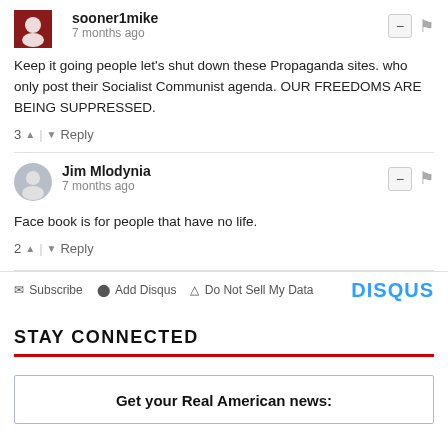sooner1mike
7 months ago
Keep it going people let's shut down these Propaganda sites. who only post their Socialist Communist agenda. OUR FREEDOMS ARE BEING SUPPRESSED.
3 ^ | v Reply
Jim Mlodynia
7 months ago
Face book is for people that have no life.
2 ^ | v Reply
Subscribe  Add Disqus  Do Not Sell My Data  DISQUS
STAY CONNECTED
Get your Real American news: